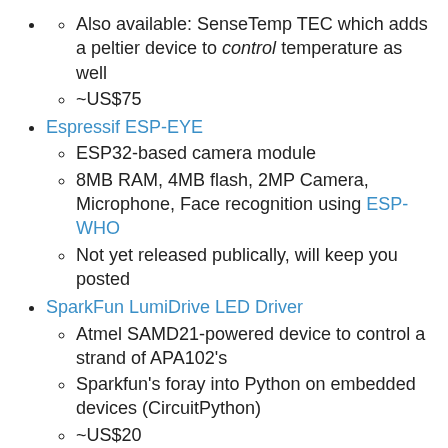Also available: SenseTemp TEC which adds a peltier device to control temperature as well
~US$75
Espressif ESP-EYE
ESP32-based camera module
8MB RAM, 4MB flash, 2MP Camera, Microphone, Face recognition using ESP-WHO
Not yet released publically, will keep you posted
SparkFun LumiDrive LED Driver
Atmel SAMD21-powered device to control a strand of APA102's
Sparkfun's foray into Python on embedded devices (CircuitPython)
~US$20
Dotstar/APA102 Micropython library
micropython-dotstar